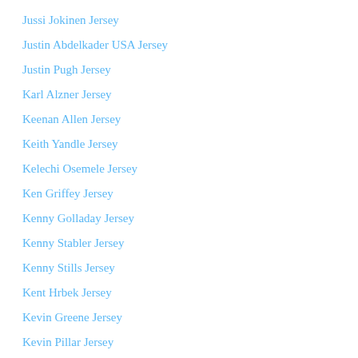Jussi Jokinen Jersey
Justin Abdelkader USA Jersey
Justin Pugh Jersey
Karl Alzner Jersey
Keenan Allen Jersey
Keith Yandle Jersey
Kelechi Osemele Jersey
Ken Griffey Jersey
Kenny Golladay Jersey
Kenny Stabler Jersey
Kenny Stills Jersey
Kent Hrbek Jersey
Kevin Greene Jersey
Kevin Pillar Jersey